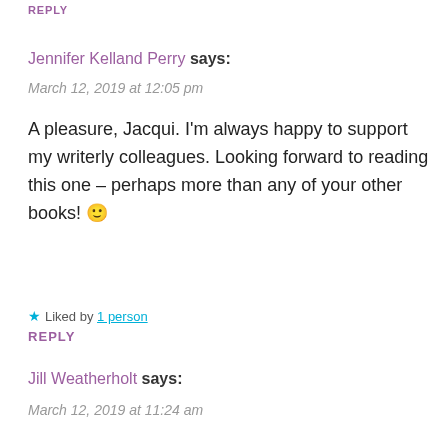REPLY
Jennifer Kelland Perry says:
March 12, 2019 at 12:05 pm
A pleasure, Jacqui. I'm always happy to support my writerly colleagues. Looking forward to reading this one – perhaps more than any of your other books! 🙂
★ Liked by 1 person
REPLY
Jill Weatherholt says:
March 12, 2019 at 11:24 am